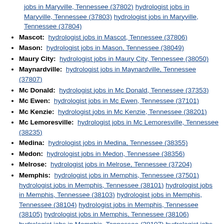(continuation) hydrologist jobs in Maryville, Tennessee (37802) hydrologist jobs in Maryville, Tennessee (37803) hydrologist jobs in Maryville, Tennessee (37804)
Mascot: hydrologist jobs in Mascot, Tennessee (37806)
Mason: hydrologist jobs in Mason, Tennessee (38049)
Maury City: hydrologist jobs in Maury City, Tennessee (38050)
Maynardville: hydrologist jobs in Maynardville, Tennessee (37807)
Mc Donald: hydrologist jobs in Mc Donald, Tennessee (37353)
Mc Ewen: hydrologist jobs in Mc Ewen, Tennessee (37101)
Mc Kenzie: hydrologist jobs in Mc Kenzie, Tennessee (38201)
Mc Lemoresville: hydrologist jobs in Mc Lemoresville, Tennessee (38235)
Medina: hydrologist jobs in Medina, Tennessee (38355)
Medon: hydrologist jobs in Medon, Tennessee (38356)
Melrose: hydrologist jobs in Melrose, Tennessee (37204)
Memphis: hydrologist jobs in Memphis, Tennessee (37501) hydrologist jobs in Memphis, Tennessee (38101) hydrologist jobs in Memphis, Tennessee (38103) hydrologist jobs in Memphis, Tennessee (38104) hydrologist jobs in Memphis, Tennessee (38105) hydrologist jobs in Memphis, Tennessee (38106) hydrologist jobs in Memphis, Tennessee (38107) hydrologist jobs in Memphis, Tennessee (38108) hydrologist jobs in Memphis, Tennessee (38109) hydrologist jobs in Memphis, Tennessee (38110) hydrologist jobs in Memphis, Tennessee (38111) hydrologist jobs in Memphis, Tennessee (38112) hydrologist jobs in Memphis, Tennessee (38113) hydrologist jobs in Memphis, Tennessee (38114) hydrologist jobs in Memphis, Tennessee (38116) hydrologist jobs in Memphis, Tennessee